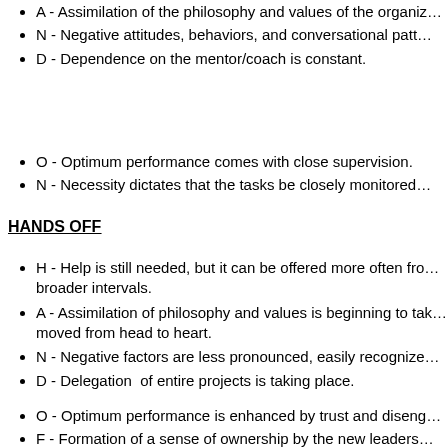A - Assimilation of the philosophy and values of the organiz…
N - Negative attitudes, behaviors, and conversational patt…
D - Dependence on the mentor/coach is constant.
O - Optimum performance comes with close supervision.
N - Necessity dictates that the tasks be closely monitored…
HANDS OFF
H - Help is still needed, but it can be offered more often fro… broader intervals.
A - Assimilation of philosophy and values is beginning to tak… moved from head to heart.
N - Negative factors are less pronounced, easily recognize…
D - Delegation of entire projects is taking place.
O - Optimum performance is enhanced by trust and diseng…
F - Formation of a sense of ownership by the new leaders…